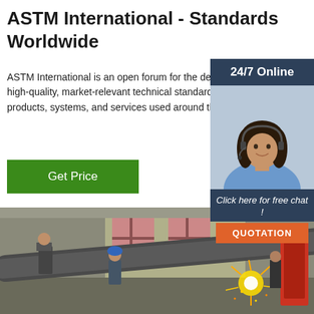ASTM International - Standards Worldwide
ASTM International is an open forum for the development of high-quality, market-relevant technical standards for materials, products, systems, and services used around the globe.
[Figure (other): Green 'Get Price' button]
[Figure (other): 24/7 Online chat widget overlay with photo of woman wearing headset, 'Click here for free chat!' text, and orange QUOTATION button]
[Figure (photo): Industrial workshop photo showing workers and machinery with sparks flying, large pipes being cut or welded]